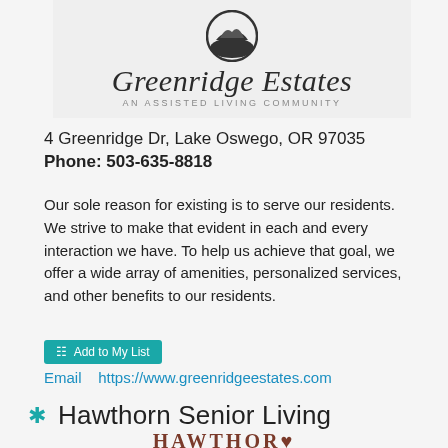[Figure (logo): Greenridge Estates logo: circular mountain icon above italic script 'Greenridge Estates' with subtitle 'AN ASSISTED LIVING COMMUNITY']
4 Greenridge Dr, Lake Oswego, OR 97035
Phone: 503-635-8818
Our sole reason for existing is to serve our residents. We strive to make that evident in each and every interaction we have. To help us achieve that goal, we offer a wide array of amenities, personalized services, and other benefits to our residents.
Add to My List
Email    https://www.greenridgeestates.com
Hawthorn Senior Living
[Figure (logo): Hawthorn Senior Living logo text: HAWTHORN in bold serif uppercase with a heart-like emblem replacing one letter]